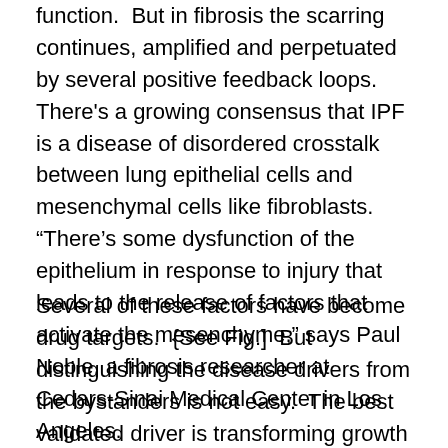function.  But in fibrosis the scarring continues, amplified and perpetuated by several positive feedback loops.  There's a growing consensus that IPF is a disease of disordered crosstalk between lung epithelial cells and mesenchymal cells like fibroblasts.  “There’s some dysfunction of the epithelium in response to injury that leads to the release of factors that activate the mesenchyme,” says Paul Noble, a fibrosis researcher at Cedars-Sinai Medical Center in Los Angeles.
Several of these factors have become drug targets.  {See Fig.]  But distinguishing the disease drivers from the bystanders is not easy.  The best validated driver is transforming growth factor β (TGFβ), a pleiotropic cytokine that is critical for maintaining a cell’s homeostasis.  In wound healing, TGFβ recruits fibroblasts and macrophages to the site of injury, directly induces the